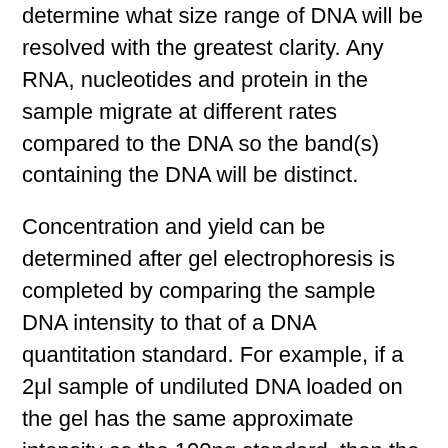determine what size range of DNA will be resolved with the greatest clarity. Any RNA, nucleotides and protein in the sample migrate at different rates compared to the DNA so the band(s) containing the DNA will be distinct.
Concentration and yield can be determined after gel electrophoresis is completed by comparing the sample DNA intensity to that of a DNA quantitation standard. For example, if a 2μl sample of undiluted DNA loaded on the gel has the same approximate intensity as the 100ng standard, then the solution concentration is 50ng/μl (100ng divided by 2μl). Standards used for quantitation should be labeled as such and be the same size as the sample DNA being analyzed. In